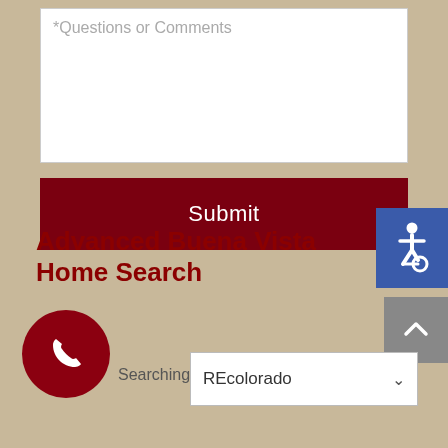*Questions or Comments
Submit
[Figure (other): Blue accessibility wheelchair icon badge in top-right corner]
[Figure (other): Gray scroll-to-top button with upward caret arrow]
Advanced Buena Vista Home Search
[Figure (other): Dark red circular phone icon button]
Searching:
REcolorado